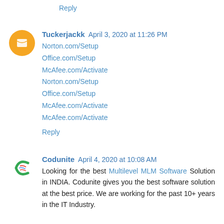Reply
Tuckerjackk April 3, 2020 at 11:26 PM
Norton.com/Setup
Office.com/Setup
McAfee.com/Activate
Norton.com/Setup
Office.com/Setup
McAfee.com/Activate
McAfee.com/Activate
Reply
Codunite April 4, 2020 at 10:08 AM
Looking for the best Multilevel MLM Software Solution in INDIA. Codunite gives you the best software solution at the best price. We are working for the past 10+ years in the IT Industry.